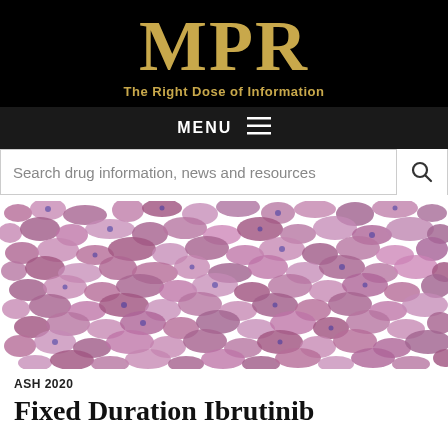MPR - The Right Dose of Information
MENU
Search drug information, news and resources
[Figure (photo): Microscopy image showing densely packed purple/pink stained cells on white background, likely a hematology or pathology slide]
ASH 2020
Fixed Duration Ibrutinib